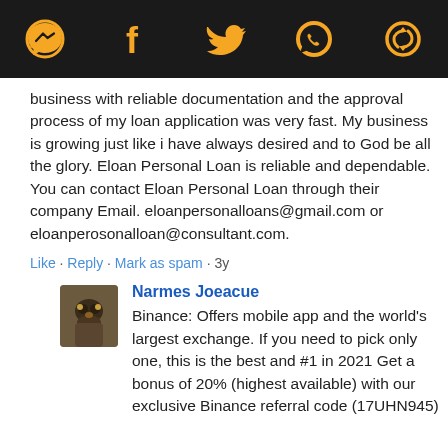[Figure (other): Top navigation bar with social media icons: Messenger, Facebook, Twitter, WhatsApp, and another icon, all in orange on black background]
business with reliable documentation and the approval process of my loan application was very fast. My business is growing just like i have always desired and to God be all the glory. Eloan Personal Loan is reliable and dependable. You can contact Eloan Personal Loan through their company Email. eloanpersonalloans@gmail.com or eloanperosonalloan@consultant.com.
Like · Reply · Mark as spam · 3y
Narmes Joeacue
Binance: Offers mobile app and the world's largest exchange. If you need to pick only one, this is the best and #1 in 2021 Get a bonus of 20% (highest available) with our exclusive Binance referral code (17UHN945)